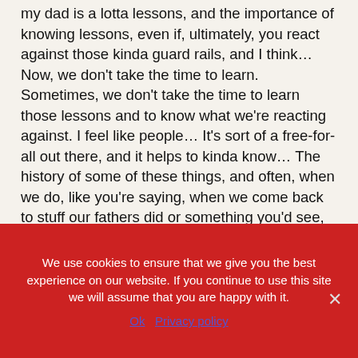my dad is a lotta lessons, and the importance of knowing lessons, even if, ultimately, you react against those kinda guard rails, and I think… Now, we don't take the time to learn. Sometimes, we don't take the time to learn those lessons and to know what we're reacting against. I feel like people… It's sort of a free-for-all out there, and it helps to kinda know… The history of some of these things, and often, when we do, like you're saying, when we come back to stuff our fathers did or something you'd see, where you're like, "Oh, right, I liked this from that movie or that era. Maybe it's time to look at this more clearly." And then you know, you go on eBay for a few hours, and you try to get to
We use cookies to ensure that we give you the best experience on our website. If you continue to use this site we will assume that you are happy with it.
Ok   Privacy policy